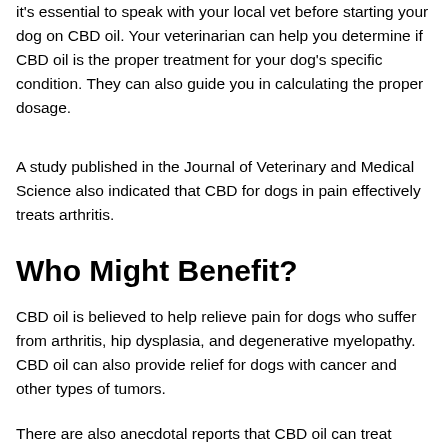it's essential to speak with your local vet before starting your dog on CBD oil. Your veterinarian can help you determine if CBD oil is the proper treatment for your dog's specific condition. They can also guide you in calculating the proper dosage.
A study published in the Journal of Veterinary and Medical Science also indicated that CBD for dogs in pain effectively treats arthritis.
Who Might Benefit?
CBD oil is believed to help relieve pain for dogs who suffer from arthritis, hip dysplasia, and degenerative myelopathy. CBD oil can also provide relief for dogs with cancer and other types of tumors.
There are also anecdotal reports that CBD oil can treat